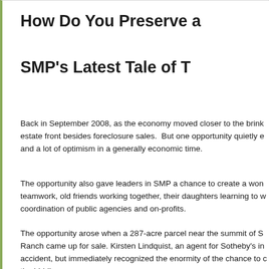How Do You Preserve a
SMP's Latest Tale of T
Back in September 2008, as the economy moved closer to the brink estate front besides foreclosure sales.  But one opportunity quietly e and a lot of optimism in a generally economic time.
The opportunity also gave leaders in SMP a chance to create a won teamwork, old friends working together, their daughters learning to w coordination of public agencies and on-profits.
The opportunity arose when a 287-acre parcel near the summit of S Ranch came up for sale. Kirsten Lindquist, an agent for Sotheby's in accident, but immediately recognized the enormity of the chance to the bidding...